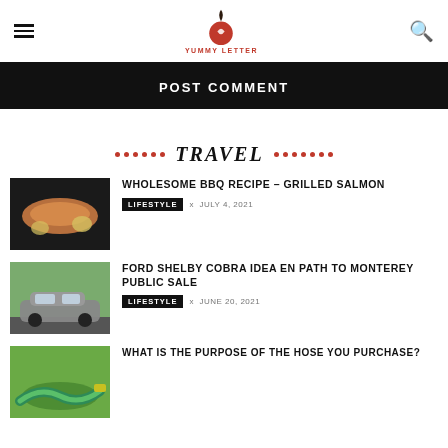YUMMY LETTER
POST COMMENT
TRAVEL
WHOLESOME BBQ RECIPE – GRILLED SALMON
LIFESTYLE  x  JULY 4, 2021
FORD SHELBY COBRA IDEA EN PATH TO MONTEREY PUBLIC SALE
LIFESTYLE  x  JUNE 20, 2021
WHAT IS THE PURPOSE OF THE HOSE YOU PURCHASE?